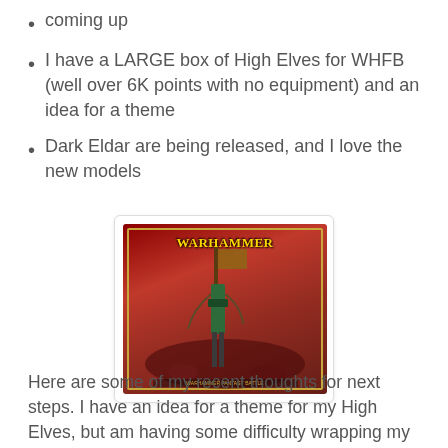coming up
I have a LARGE box of High Elves for WHFB (well over 6K points with no equipment) and an idea for a theme
Dark Eldar are being released, and I love the new models
[Figure (photo): Warhammer Fantasy Battle rulebook cover featuring a large mechanical/undead figure on a red background with gold border decoration]
Here are some of my recent thoughts for next steps. I have an idea for a theme for my High Elves, but am having some difficulty wrapping my mind around how I will execute the theme. I also need to settle on a decent color scheme for the